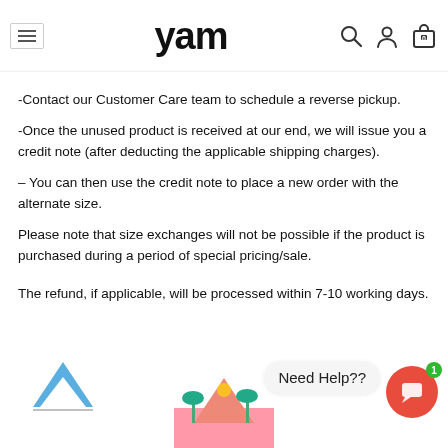yam
If you would like a different size in the same style of clothing that you have purchased, you will need to go through the following steps
-Contact our Customer Care team to schedule a reverse pickup.
-Once the unused product is received at our end, we will issue you a credit note (after deducting the applicable shipping charges).
– You can then use the credit note to place a new order with the alternate size.
Please note that size exchanges will not be possible if the product is purchased during a period of special pricing/sale.
The refund, if applicable, will be processed within 7-10 working days.
[Figure (screenshot): Website footer area with chevron up icon, a tropical scene illustration, a 'Need Help??' chat bubble, and a red circular chat button with a green badge showing 1]